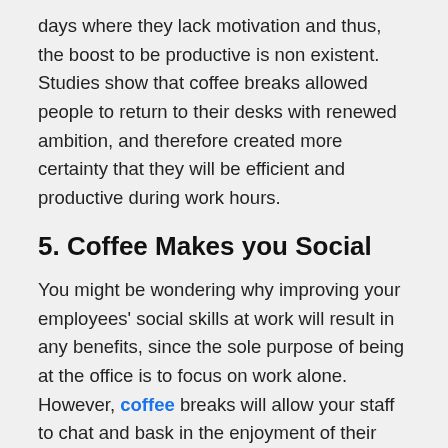days where they lack motivation and thus, the boost to be productive is non existent. Studies show that coffee breaks allowed people to return to their desks with renewed ambition, and therefore created more certainty that they will be efficient and productive during work hours.
5. Coffee Makes you Social
You might be wondering why improving your employees' social skills at work will result in any benefits, since the sole purpose of being at the office is to focus on work alone. However, coffee breaks will allow your staff to chat and bask in the enjoyment of their tasty drinks together, which will relieve stress and stimulate their minds. Interacting with others on a social level will make your staff more positive which will, in turn, send them back to